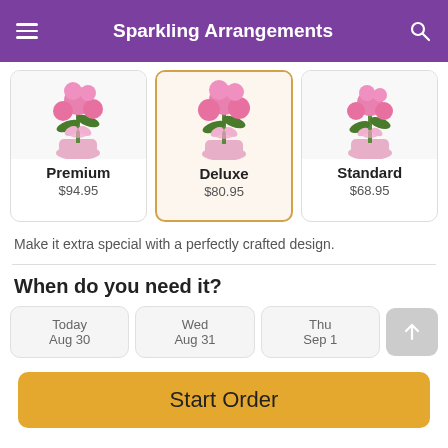Sparkling Arrangements
[Figure (screenshot): Three flower arrangement product cards: Premium ($94.95), Deluxe ($80.95, selected/highlighted), Standard ($68.95), each with a pink flower bouquet image.]
Make it extra special with a perfectly crafted design.
When do you need it?
Today Aug 30 | Wed Aug 31 | Thu Sep 1 | (scroll arrow)
Start Order